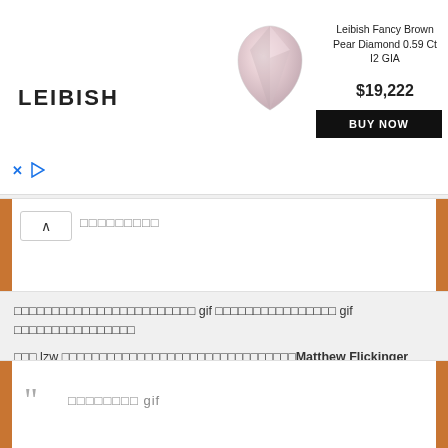[Figure (other): Leibish advertisement banner showing a pear-shaped fancy brown diamond with price $19,222 and BUY NOW button]
□□□□□□□□□
□□□□□□□□□□□□□□□□□□□□□□□□ gif □□□□□□□□□□□□□□□□ gif □□□□□□□□□□□□□□□□
□□□ lzw □□□□□□□□□□□□□□□□□□□□□□□□□□□□□□□Matthew Flickinger □□□□□□□ □□□□□□
❝ □□□□□□□□ gif